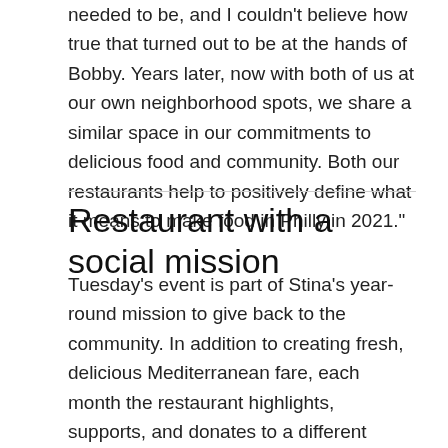needed to be, and I couldn’t believe how true that turned out to be at the hands of Bobby. Years later, now with both of us at our own neighborhood spots, we share a similar space in our commitments to delicious food and community. Both our restaurants help to positively define what it means to make food in Philly in 2021.”
Restaurant with a social mission
Tuesday’s event is part of Stina’s year-round mission to give back to the community. In addition to creating fresh, delicious Mediterranean fare, each month the restaurant highlights, supports, and donates to a different organization. The restaurant hosts a special night and donates 20% to an area non-profit selected by Stina owners Chef Saritsoglou and his wife Christina Kallas-